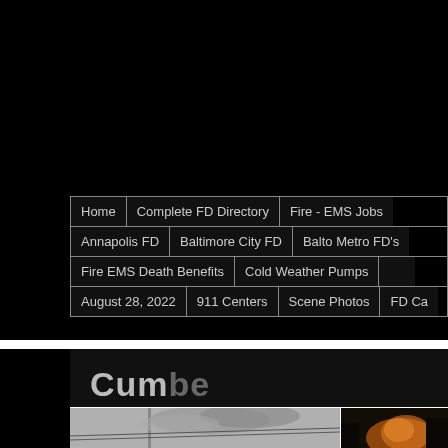[Figure (screenshot): Black background area (advertisement/banner space) at top of webpage]
Home | Complete FD Directory | Fire - EMS Jobs
Annapolis FD | Baltimore City FD | Balto Metro FD's
Fire EMS Death Benefits | Cold Weather Pumps
August 28, 2022 | 911 Centers | Scene Photos | FD Ca...
Cumbe
[Figure (photo): Smoke scene photo on the left, fire scene photo on the right (nighttime with orange glow)]